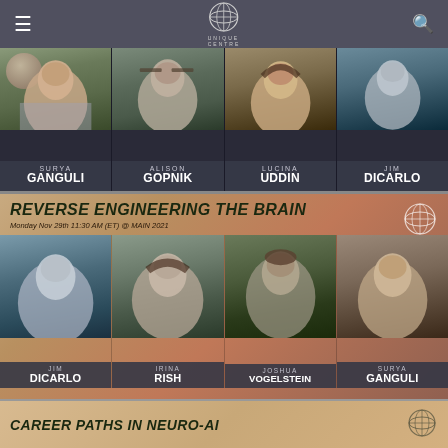Unique Centre — navigation bar with logo
[Figure (photo): Panel showing four speakers: Surya Ganguli, Alison Gopnik, Lucina Uddin, Jim DiCarlo — portrait photos with name overlays]
[Figure (infographic): Event banner: REVERSE ENGINEERING THE BRAIN, Monday Nov 29th 11:30 AM (ET) @ MAIN 2021, with four speaker photos: Jim DiCarlo, Irina Rish, Joshua Vogelstein, Surya Ganguli]
[Figure (infographic): Partial event banner: CAREER PATHS IN NEURO-AI with Unique Centre logo]